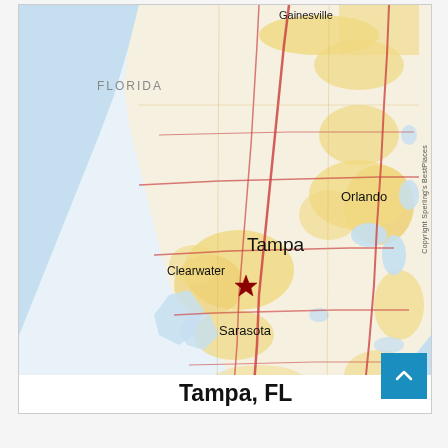[Figure (map): A regional map of central Florida showing Tampa, Clearwater, Sarasota, Orlando, and Gainesville. The map uses a light blue background for water bodies (Gulf of Mexico), cream/white for land, and yellow for populated/urban areas. Red roads and highways are visible. A red star marker is placed at the Clearwater/Tampa area. The label 'FLORIDA' appears on the left portion. Copyright notice reads 'Copyright Sperling's BestPlaces'.]
Tampa, FL